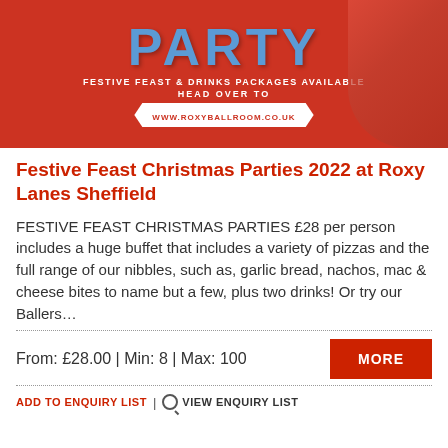[Figure (illustration): Red promotional banner for Christmas party at Roxy Ballroom showing 'PARTY' text in blue, with tagline 'FESTIVE FEAST & DRINKS PACKAGES AVAILABLE HEAD OVER TO WWW.ROXYBALLROOM.CO.UK' and a Santa figure on the right side.]
Festive Feast Christmas Parties 2022 at Roxy Lanes Sheffield
FESTIVE FEAST CHRISTMAS PARTIES £28 per person includes a huge buffet that includes a variety of pizzas and the full range of our nibbles, such as, garlic bread, nachos, mac & cheese bites to name but a few, plus two drinks! Or try our Ballers…
From: £28.00 | Min: 8 | Max: 100
ADD TO ENQUIRY LIST | VIEW ENQUIRY LIST